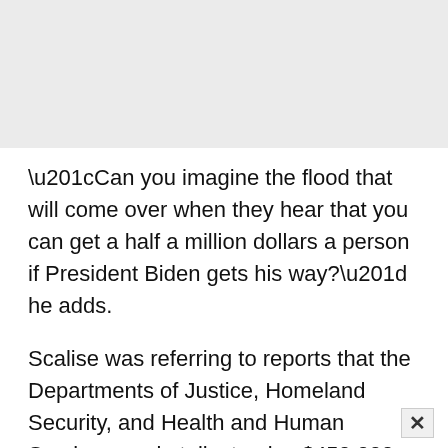[Figure (other): Light gray header bar at the top of the page]
“Can you imagine the flood that will come over when they hear that you can get a half a million dollars a person if President Biden gets his way?” he adds.
Scalise was referring to reports that the Departments of Justice, Homeland Security, and Health and Human Services are in talks to give $450,000 per person to immigrants who were